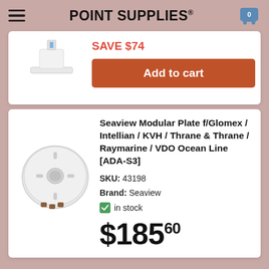POINT SUPPLIES
SAVE $74
Add to cart
[Figure (photo): Partial product image of a white device on a stand, partially cut off at top]
Seaview Modular Plate f/Glomex / Intellian / KVH / Thrane & Thrane / Raymarine / VDO Ocean Line [ADA-S3]
SKU: 43198
Brand: Seaview
in stock
$185.60
[Figure (photo): White circular modular plate with a central hole and mounting slots, with brown rubber pads at the bottom edge]